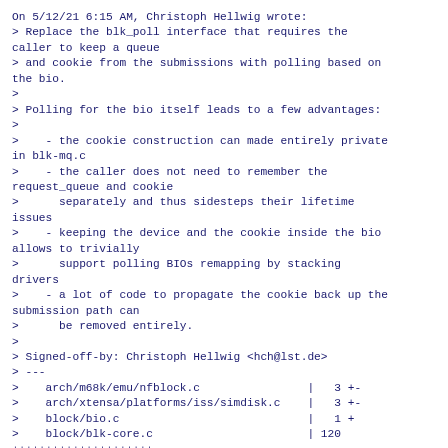On 5/12/21 6:15 AM, Christoph Hellwig wrote:
> Replace the blk_poll interface that requires the caller to keep a queue
> and cookie from the submissions with polling based on the bio.
>
> Polling for the bio itself leads to a few advantages:
>
>    - the cookie construction can made entirely private in blk-mq.c
>    - the caller does not need to remember the request_queue and cookie
>      separately and thus sidesteps their lifetime issues
>    - keeping the device and the cookie inside the bio allows to trivially
>      support polling BIOs remapping by stacking drivers
>    - a lot of code to propagate the cookie back up the submission path can
>      be removed entirely.
>
> Signed-off-by: Christoph Hellwig <hch@lst.de>
> ---
>    arch/m68k/emu/nfblock.c                |   3 +-
>    arch/xtensa/platforms/iss/simdisk.c    |   3 +-
>    block/bio.c                            |   1 +
>    block/blk-core.c                       | 120
+++++++++++++++++++++----------